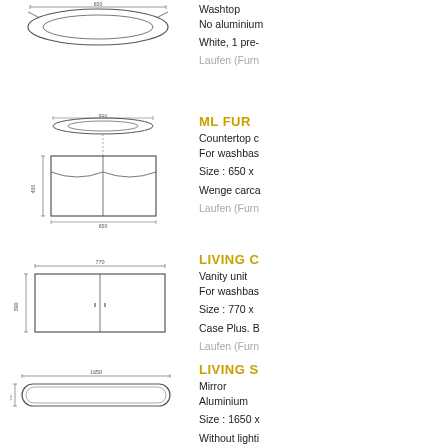[Figure (engineering-diagram): Technical line drawing of a washtop basin from above]
Washtop
No aluminium
White, 1 pre-
Laufen (Furn
[Figure (engineering-diagram): Technical line drawing of ML furniture countertop cabinet with washbasin, exploded view and dimensions]
ML FUR
Countertop c
For washbas
Size : 650 x
Wenge carca
Laufen (Furn
[Figure (engineering-diagram): Technical line drawing of Living City vanity unit with dimensions 770 wide]
LIVING C
Vanity unit
For washbas
Size : 770 x
Case Plus. B
Laufen (Furn
[Figure (engineering-diagram): Technical line drawing of Living S mirror, elongated oval shape with dimensions]
LIVING S
Mirror
Aluminium
Size : 1650 x
Without lighti